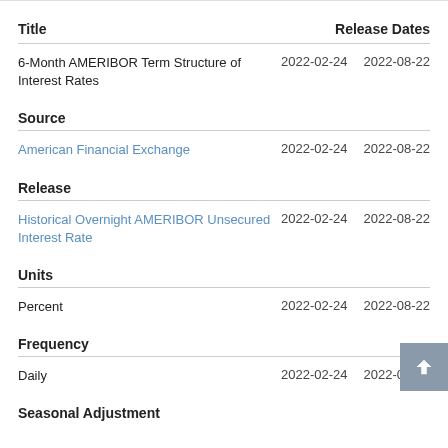| Title | Release Dates |  |
| --- | --- | --- |
| 6-Month AMERIBOR Term Structure of Interest Rates | 2022-02-24 | 2022-08-22 |
| Source |  |  |
| American Financial Exchange | 2022-02-24 | 2022-08-22 |
| Release |  |  |
| Historical Overnight AMERIBOR Unsecured Interest Rate | 2022-02-24 | 2022-08-22 |
| Units |  |  |
| Percent | 2022-02-24 | 2022-08-22 |
| Frequency |  |  |
| Daily | 2022-02-24 | 2022-08-22 |
| Seasonal Adjustment |  |  |